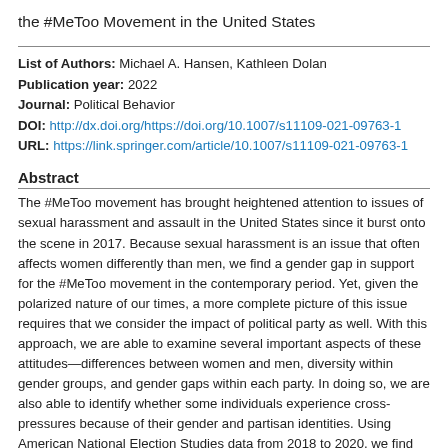the #MeToo Movement in the United States
List of Authors: Michael A. Hansen, Kathleen Dolan
Publication year: 2022
Journal: Political Behavior
DOI: http://dx.doi.org/https://doi.org/10.1007/s11109-021-09763-1
URL: https://link.springer.com/article/10.1007/s11109-021-09763-1
Abstract
The #MeToo movement has brought heightened attention to issues of sexual harassment and assault in the United States since it burst onto the scene in 2017. Because sexual harassment is an issue that often affects women differently than men, we find a gender gap in support for the #MeToo movement in the contemporary period. Yet, given the polarized nature of our times, a more complete picture of this issue requires that we consider the impact of political party as well. With this approach, we are able to examine several important aspects of these attitudes—differences between women and men, diversity within gender groups, and gender gaps within each party. In doing so, we are also able to identify whether some individuals experience cross-pressures because of their gender and partisan identities. Using American National Election Studies data from 2018 to 2020, we find that partisanship is a significant influence on opinion on this highly gender-salient issue, identifying partisan differences that are larger than the differences between